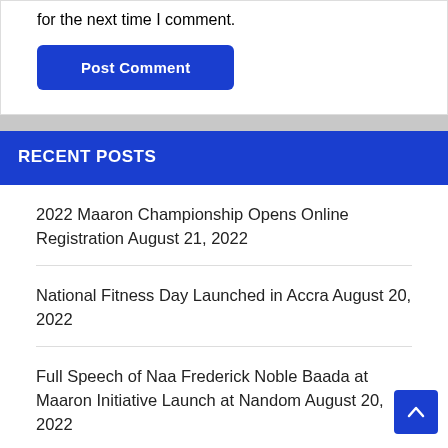for the next time I comment.
Post Comment
RECENT POSTS
2022 Maaron Championship Opens Online Registration August 21, 2022
National Fitness Day Launched in Accra August 20, 2022
Full Speech of Naa Frederick Noble Baada at Maaron Initiative Launch at Nandom August 20, 2022